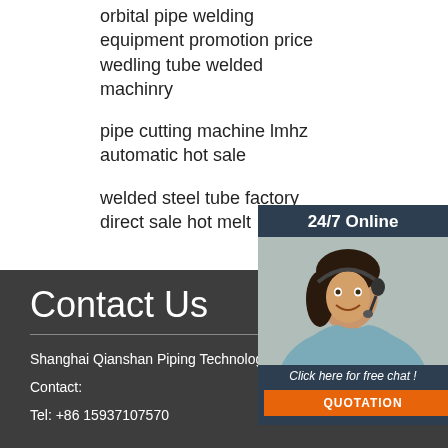orbital pipe welding equipment promotion price wedling tube welded machinry
pipe cutting machine lmhz automatic hot sale
welded steel tube factory direct sale hot melt
[Figure (photo): Customer service representative with headset, smiling. Widget shows 24/7 Online header, Click here for free chat! text, and QUOTATION button.]
Contact Us
Shanghai Qianshan Piping Technology Co., Ltd.(QSPT)
Contact:
Tel: +86 15937107570